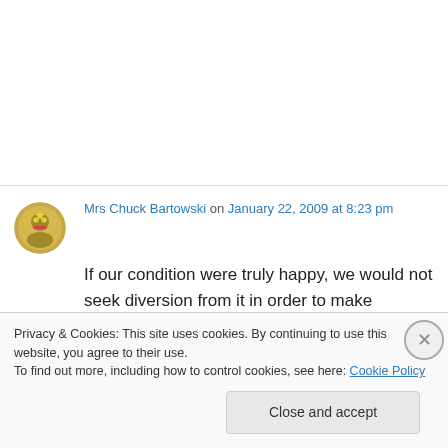[Figure (illustration): Top white area — blank space above the comment]
Mrs Chuck Bartowski on January 22, 2009 at 8:23 pm
If our condition were truly happy, we would not seek diversion from it in order to make ourselves happy.
–Blaise Pascal
Privacy & Cookies: This site uses cookies. By continuing to use this website, you agree to their use.
To find out more, including how to control cookies, see here: Cookie Policy